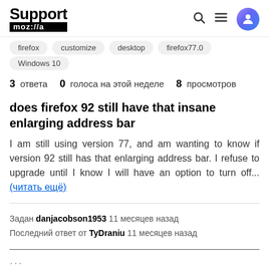Support mozilla//a
firefox
customize
desktop
firefox77.0
Windows 10
3 ответа  0  голоса на этой неделе  8  просмотров
does firefox 92 still have that insane enlarging address bar
I am still using version 77, and am wanting to know if version 92 still has that enlarging address bar. I refuse to upgrade until I know I will have an option to turn off... (читать ещё)
Задан danjacobson1953 11 месяцев назад
Последний ответ от TyDraniu 11 месяцев назад